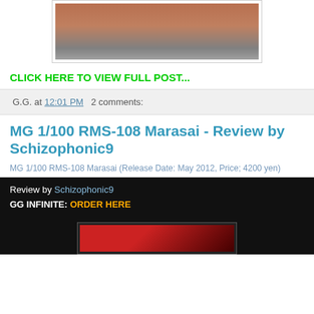[Figure (photo): Bottom portion of a model figure showing feet/base on a gray background]
CLICK HERE TO VIEW FULL POST...
G.G. at 12:01 PM   2 comments:
MG 1/100 RMS-108 Marasai - Review by Schizophonic9
MG 1/100 RMS-108 Marasai (Release Date: May 2012, Price; 4200 yen)
Review by Schizophonic9
GG INFINITE: ORDER HERE
[Figure (photo): Dark background with partial view of a red model figure]